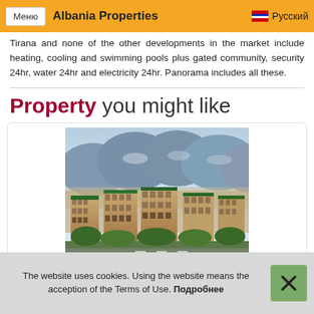Меню | Albania Properties | Русский
Tirana and none of the other developments in the market include heating, cooling and swimming pools plus gated community, security 24hr, water 24hr and electricity 24hr. Panorama includes all these.
Property you might like
[Figure (photo): Aerial view of Tirana city with apartment buildings in foreground and mountains in background]
Tirana    79 560 €
The website uses cookies. Using the website means the acception of the Terms of Use. Подробнее